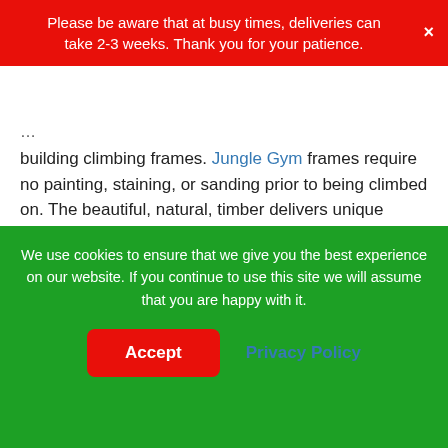Please be aware that at busy times, deliveries can take 2-3 weeks. Thank you for your patience.
building climbing frames. Jungle Gym frames require no painting, staining, or sanding prior to being climbed on. The beautiful, natural, timber delivers unique colouring, knots and lines for a totally charming and unique finish. They’re weather-resistant, immune to wood rot, pesky insects, mildew, and fungi just as they are, but if you want to add a stain to make your climbing frame match any other wooden structures in your garden or around your home.
Jungle Gym climbing frames and accessories are perfect for
We use cookies to ensure that we give you the best experience on our website. If you continue to use this site we will assume that you are happy with it. Accept  Privacy Policy